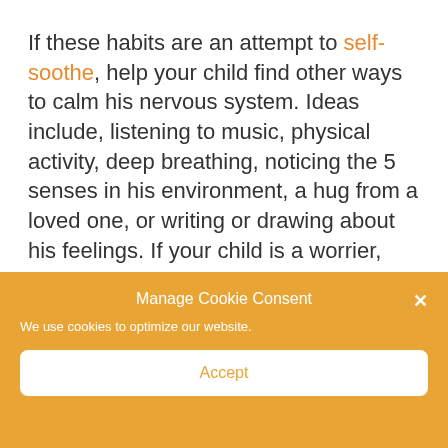If these habits are an attempt to self-soothe, help your child find other ways to calm his nervous system. Ideas include, listening to music, physical activity, deep breathing, noticing the 5 senses in his environment, a hug from a loved one, or writing or drawing about his feelings. If your child is a worrier, you can implement some of these tips together.
Manage Cookie Consent
We use cookies to optimize our website.
Accept